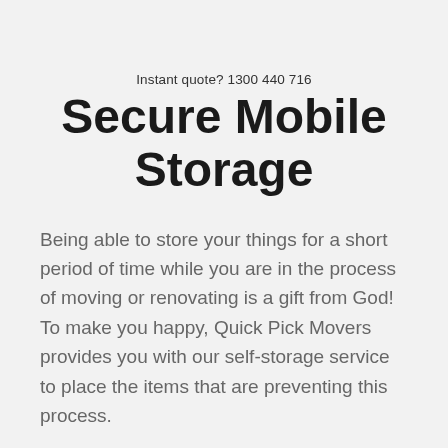Instant quote? 1300 440 716
Secure Mobile Storage
Being able to store your things for a short period of time while you are in the process of moving or renovating is a gift from God! To make you happy, Quick Pick Movers provides you with our self-storage service to place the items that are preventing this process.
Our storage facility is equipped with 24-hour